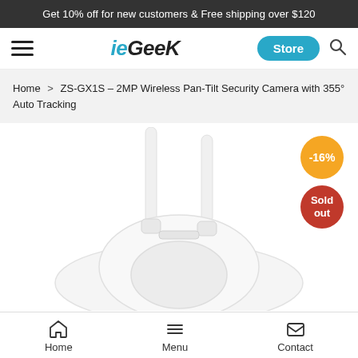Get 10% off for new customers & Free shipping over $120
[Figure (logo): ieGeek logo with hamburger menu and Store button]
Home > ZS-GX1S – 2MP Wireless Pan-Tilt Security Camera with 355° Auto Tracking
[Figure (photo): White wireless pan-tilt security camera with two antennas, -16% discount badge and Sold out badge]
Home   Menu   Contact